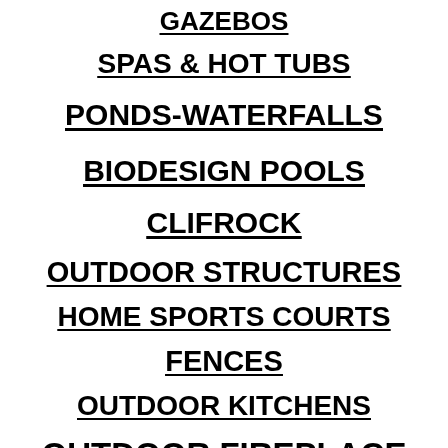GAZEBOS
SPAS & HOT TUBS
PONDS-WATERFALLS
BIODESIGN POOLS
CLIFROCK
OUTDOOR STRUCTURES
HOME SPORTS COURTS
FENCES
OUTDOOR KITCHENS
OUTDOOR FIREPLACE